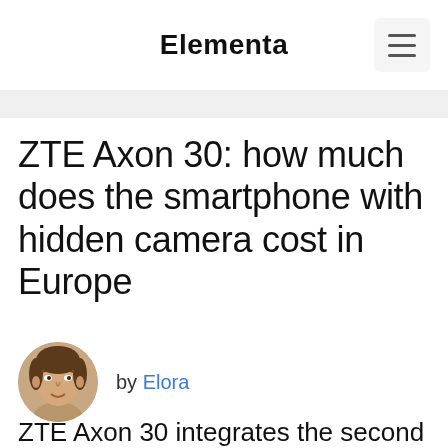Elementa
ZTE Axon 30: how much does the smartphone with hidden camera cost in Europe
by Elora
ZTE Axon 30 integrates the second